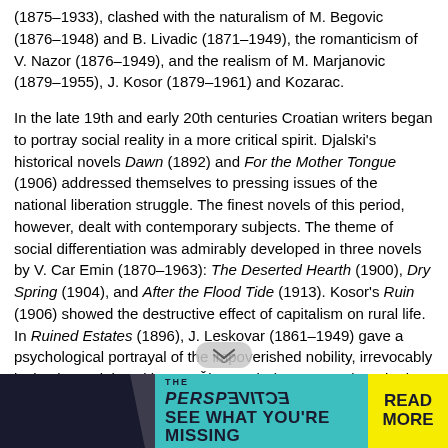(1875–1933), clashed with the naturalism of M. Begovic (1876–1948) and B. Livadic (1871–1949), the romanticism of V. Nazor (1876–1949), and the realism of M. Marjanovic (1879–1955), J. Kosor (1879–1961) and Kozarac.
In the late 19th and early 20th centuries Croatian writers began to portray social reality in a more critical spirit. Djalski's historical novels Dawn (1892) and For the Mother Tongue (1906) addressed themselves to pressing issues of the national liberation struggle. The finest novels of this period, however, dealt with contemporary subjects. The theme of social differentiation was admirably developed in three novels by V. Car Emin (1870–1963): The Deserted Hearth (1900), Dry Spring (1904), and After the Flood Tide (1913). Kosor's Ruin (1906) showed the destructive effect of capitalism on rural life. In Ruined Estates (1896), J. Leskovar (1861–1949) gave a psychological portrayal of the impoverished nobility, irrevocably losing its social position. D. Šimunovic (1873–1933) evoked the life of the common people in a romantic folkloric style in The Stranger (1911). The realist tradition in poetry was continued by Kranjcevic. Nazor's poetry of this period mingled realist and romantic elements. Outstanding plays included the The Equinox Storm (1895) and Dubrovnik Trilogy (1902) by I. Vojnovic (1857–1929) and Car Emin's Winter Sun (1903) and Golden
[Figure (other): Advertisement banner: THE PERSPECTIVE (mirrored text effect) SEE WHAT YOU'RE MISSING with READ MORE button on yellow background]